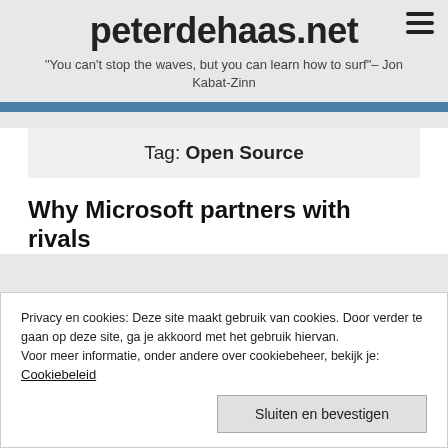peterdehaas.net
"You can't stop the waves, but you can learn how to surf"– Jon Kabat-Zinn
Tag: Open Source
Why Microsoft partners with rivals
Privacy en cookies: Deze site maakt gebruik van cookies. Door verder te gaan op deze site, ga je akkoord met het gebruik hiervan. Voor meer informatie, onder andere over cookiebeheer, bekijk je: Cookiebeleid
Sluiten en bevestigen